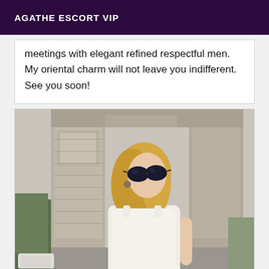AGATHE ESCORT VIP
meetings with elegant refined respectful men. My oriental charm will not leave you indifferent. See you soon!
[Figure (photo): Blonde woman wearing large dark sunglasses and a white sleeveless top, photographed outdoors in front of the Arc de Triomphe in Paris. She is posing with her head tilted slightly upward. Green trees are visible in the background.]